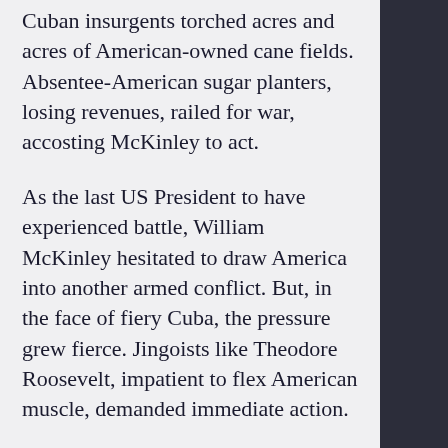Cuban insurgents torched acres and acres of American-owned cane fields. Absentee-American sugar planters, losing revenues, railed for war, accosting McKinley to act.
As the last US President to have experienced battle, William McKinley hesitated to draw America into another armed conflict. But, in the face of fiery Cuba, the pressure grew fierce. Jingoists like Theodore Roosevelt, impatient to flex American muscle, demanded immediate action.
Still McKinley hesitated, understanding, what the young could not. A veteran of the Civil War, the President grasped the real cost of war, measured in blood, treasure, and humanity. Nonetheless, following the